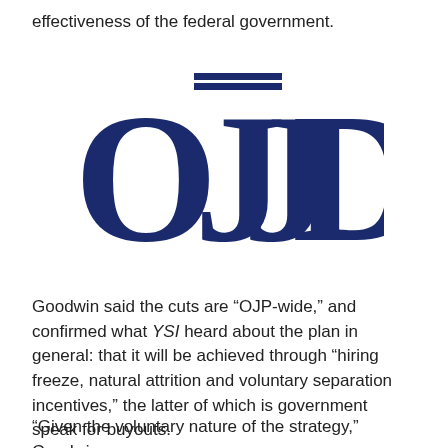effectiveness of the federal government.
[Figure (logo): OJJDP logo — large dark navy blue serif letters spelling OJJDP with decorative pillar-style bars above the J letters]
Goodwin said the cuts are “OJP-wide,” and confirmed what YSI heard about the plan in general: that it will be achieved through “hiring freeze, natural attrition and voluntary separation incentives,” the latter of which is government speak for buyouts.
“Given the voluntary nature of the strategy,” Goodwin